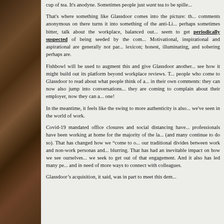cup of tea. It's anodyne. Sometimes people just want tea to be spille...
That's where something like Glassdoor comes into the picture: th... comments anonymous on there turns it into something of the anti-Li... perhaps sometimes bitter, talk about the workplace, balanced out... seem to get periodically suspected of being seeded by the com... Motivational, inspirational and aspirational are generally not par... lexicon; honest, illuminating, and sobering perhaps are.
Fishbowl will be used to augment this and give Glassdoor another... see how it might build out its platform beyond workplace reviews. T... people who come to Glassdoor to read about what people think of a... in their own comments: they can now also jump into conversations... they are coming to complain about their employer, now they can a... one!
In the meantime, it feels like the swing to more authenticity is also... we've seen in the world of work.
Covid-19 mandated office closures and social distancing have... professionals have been working at home for the majority of the la... (and many continue to do so). That has changed how we “come to o... our traditional divides between work and non-work personas and... blurring. That has had an inevitable impact on how we see ourselves... we seek to get out of that engagement. And it also has led many pe... and in need of more ways to connect with colleagues.
Glassdoor’s acquisition, it said, was in part to meet this dem...